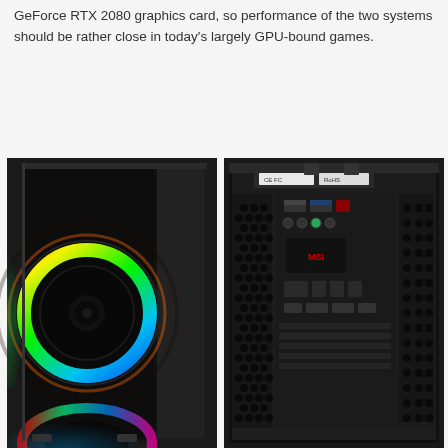GeForce RTX 2080 graphics card, so performance of the two systems should be rather close in today's largely GPU-bound games.
[Figure (photo): Two views of a gaming PC tower case: left image shows front/side view of a black mid-tower ATX case with a large RGB fan visible through a glass/mesh panel showing rainbow ring lighting effect; right image shows interior/back panel view of the same or similar case revealing an MSI motherboard with ports, USB headers, and ventilation mesh.]